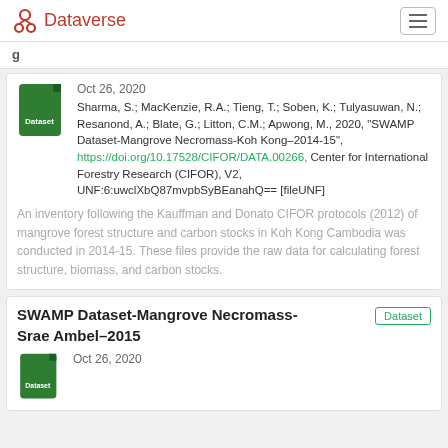Dataverse
Oct 26, 2020
Sharma, S.; MacKenzie, R.A.; Tieng, T.; Soben, K.; Tulyasuwan, N.; Resanond, A.; Blate, G.; Litton, C.M.; Apwong, M., 2020, "SWAMP Dataset-Mangrove Necromass-Koh Kong–2014-15", https://doi.org/10.17528/CIFOR/DATA.00266, Center for International Forestry Research (CIFOR), V2, UNF:6:uwclXbQ87mvpbSyBEanahQ== [fileUNF]
An inventory following the Kauffman and Donato CIFOR protocols (2012) of mangrove forest structure and carbon stocks in Koh Kong Cambodia was conducted in 2014-15. These files provide the raw data for calculating forest structure, biomass, and carbon stocks.
SWAMP Dataset-Mangrove Necromass-Srae Ambel–2015
Oct 26, 2020